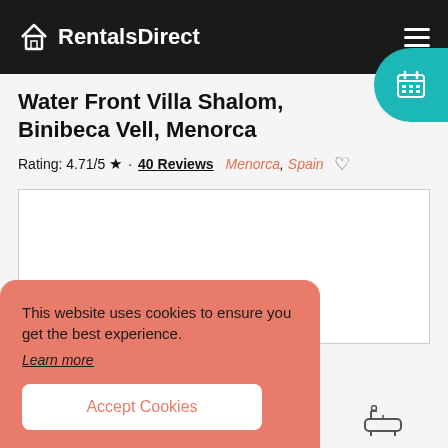RentalsDirect
Water Front Villa Shalom, Binibeca Vell, Menorca
Rating: 4.71/5 ★ · 40 Reviews   Menorca, Spain ♡
[Figure (photo): Property photo placeholder (white box with border)]
This website uses cookies to ensure you get the best experience. Learn more
Accept Cookies